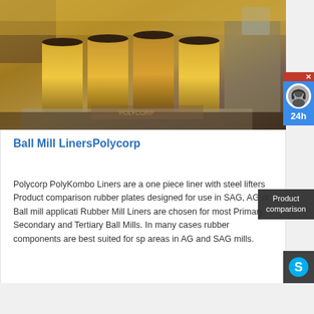[Figure (photo): Overhead industrial photograph of a ball mill or SAG mill with cylindrical metal drums, machinery parts, and golden/bronze colored metal shavings and ore.]
Ball Mill LinersPolycorp
Polycorp PolyKombo Liners are a one piece liner with steel lifters Product comparison rubber plates designed for use in SAG, AG or Ball mill applicati Rubber Mill Liners are chosen for most Primary, Secondary and Tertiary Ball Mills. In many cases rubber components are best suited for sp areas in AG and SAG mills.
Inquire Now